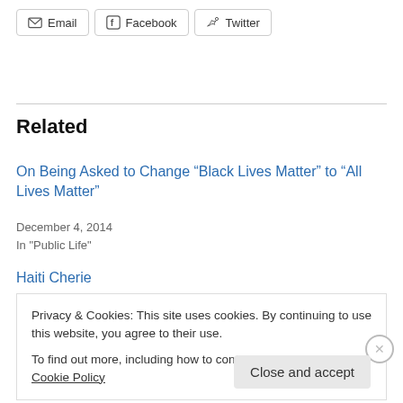[Figure (other): Share buttons: Email, Facebook, Twitter]
Related
On Being Asked to Change “Black Lives Matter” to “All Lives Matter”
December 4, 2014
In "Public Life"
Haiti Cherie
Privacy & Cookies: This site uses cookies. By continuing to use this website, you agree to their use.
To find out more, including how to control cookies, see here: Cookie Policy